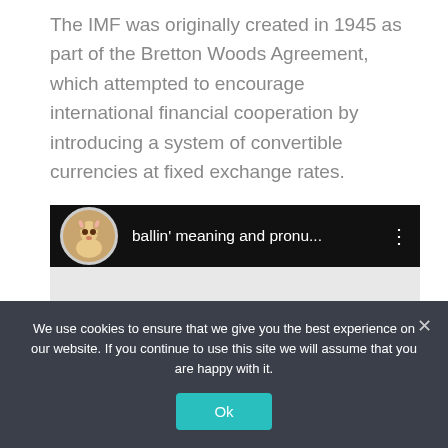The IMF was originally created in 1945 as part of the Bretton Woods Agreement, which attempted to encourage international financial cooperation by introducing a system of convertible currencies at fixed exchange rates.
[Figure (screenshot): A YouTube video thumbnail bar showing a kitten avatar and the title 'ballin' meaning and pronu...' with a three-dot menu icon, over a thumbnail showing large blue 'ballin' text]
We use cookies to ensure that we give you the best experience on our website. If you continue to use this site we will assume that you are happy with it.